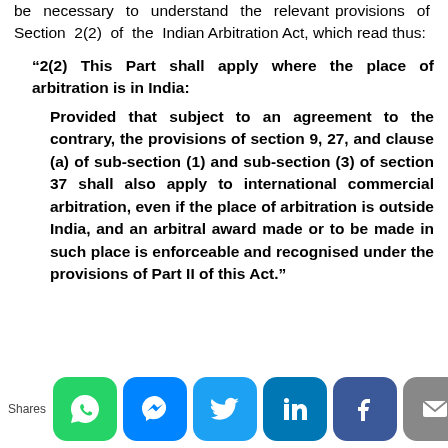be necessary to understand the relevant provisions of Section 2(2) of the Indian Arbitration Act, which read thus:
‘2(2) This Part shall apply where the place of arbitration is in India: Provided that subject to an agreement to the contrary, the provisions of section 9, 27, and clause (a) of sub-section (1) and sub-section (3) of section 37 shall also apply to international commercial arbitration, even if the place of arbitration is outside India, and an arbitral award made or to be made in such place is enforceable and recognised under the provisions of Part II of this Act.”
[Figure (infographic): Social media share buttons: WhatsApp, Messenger, Twitter, LinkedIn, Facebook, Email, and another icon. Label 'Shares' on left.]